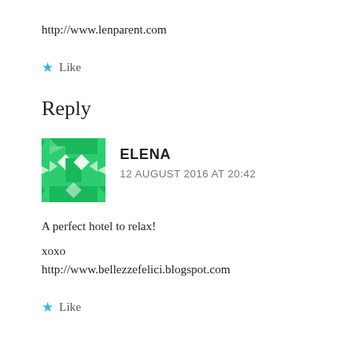http://www.lenparent.com
★ Like
Reply
ELENA
12 AUGUST 2016 AT 20:42
A perfect hotel to relax!
xoxo
http://www.bellezzefelici.blogspot.com
★ Like